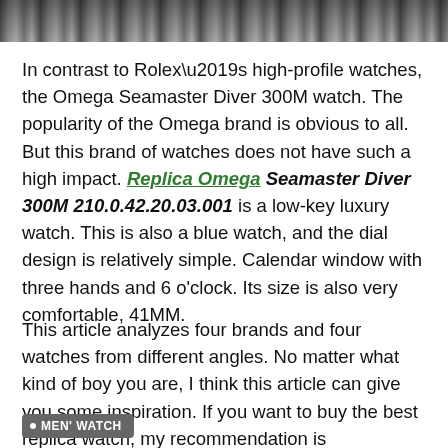[Figure (photo): Close-up photo strip of a watch mechanism with metal parts visible at top of page]
In contrast to Rolex’s high-profile watches, the Omega Seamaster Diver 300M watch. The popularity of the Omega brand is obvious to all. But this brand of watches does not have such a high impact. Replica Omega Seamaster Diver 300M 210.0.42.20.03.001 is a low-key luxury watch. This is also a blue watch, and the dial design is relatively simple. Calendar window with three hands and 6 o’clock. Its size is also very comfortable, 41MM.
This article analyzes four brands and four watches from different angles. No matter what kind of boy you are, I think this article can give you some inspiration. If you want to buy the best replica watch, my recommendation is perfectreplicawatch.to this online store.
MEN’ WATCH